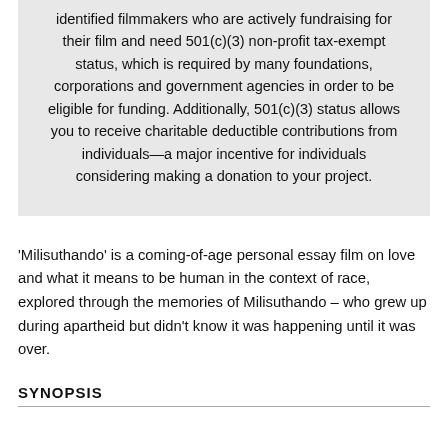identified filmmakers who are actively fundraising for their film and need 501(c)(3) non-profit tax-exempt status, which is required by many foundations, corporations and government agencies in order to be eligible for funding. Additionally, 501(c)(3) status allows you to receive charitable deductible contributions from individuals—a major incentive for individuals considering making a donation to your project.
'Milisuthando' is a coming-of-age personal essay film on love and what it means to be human in the context of race, explored through the memories of Milisuthando – who grew up during apartheid but didn't know it was happening until it was over.
SYNOPSIS